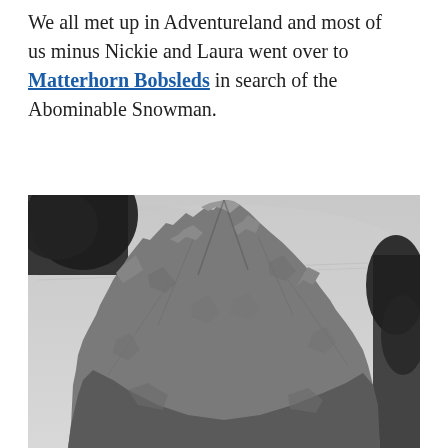We all met up in Adventureland and most of us minus Nickie and Laura went over to Matterhorn Bobsleds in search of the Abominable Snowman.
[Figure (photo): Black and white photo looking up at the Matterhorn mountain attraction at Disneyland, showing jagged rocky peak with trees on the sides and overcast sky.]